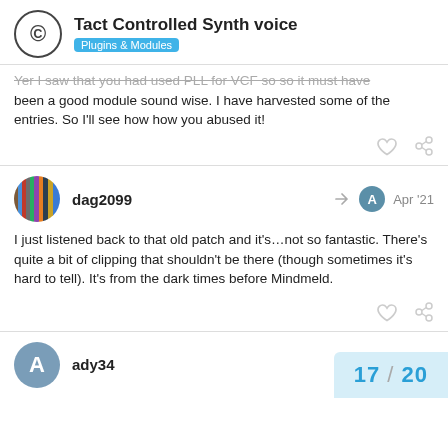Tact Controlled Synth voice — Plugins & Modules
Yer I saw that you had used PLL for VCF so so it must have been a good module sound wise. I have harvested some of the entries. So I'll see how how you abused it!
dag2099   Apr '21
I just listened back to that old patch and it's…not so fantastic. There's quite a bit of clipping that shouldn't be there (though sometimes it's hard to tell). It's from the dark times before Mindmeld.
ady34
17 / 20